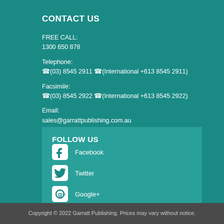CONTACT US
FREE CALL:
1300 650 878
Telephone:
☎(03) 8545 2911 ☎(International +613 8545 2911)
Facsimile:
☎(03) 8545 2922 ☎(International +613 8545 2922)
Email:
sales@garrattpublishing.com.au
FOLLOW US
Facebook
Twitter
Google+
YouTube
Copyright © 2022 Garratt Publishing. Prices may vary without notice.